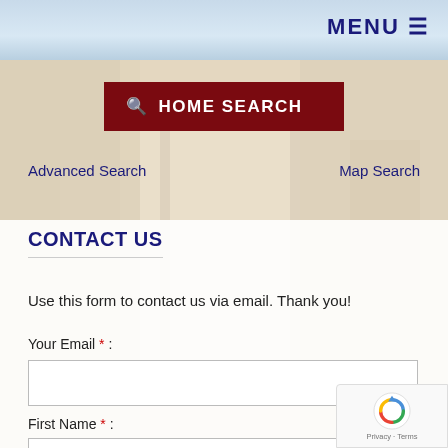MENU ≡
[Figure (screenshot): Home search button with dark red background and white text showing a magnifying glass icon and 'HOME SEARCH' label]
Advanced Search
Map Search
CONTACT US
Use this form to contact us via email. Thank you!
Your Email * :
First Name * :
[Figure (other): reCAPTCHA badge with spinning arrows logo and Privacy - Terms text]